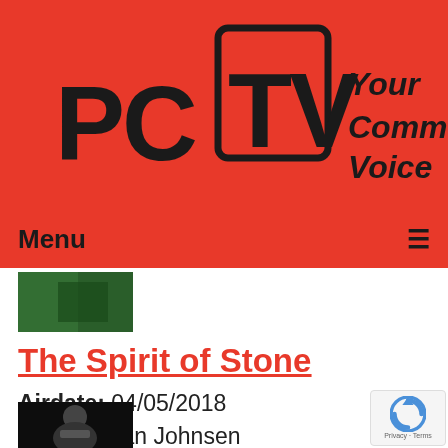[Figure (logo): PCTV logo with red background and tagline 'Your Community Voice']
Menu ≡
[Figure (photo): Small thumbnail image with green background]
The Spirit of Stone
Airdate: 04/05/2018
Guests: Jan Johnsen
Watched: 31 times
[Figure (photo): Small thumbnail photo of a person speaking, dark background]